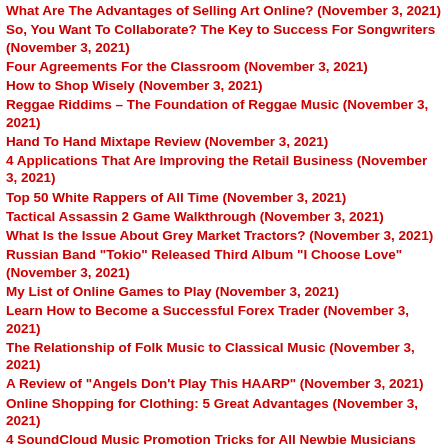What Are The Advantages of Selling Art Online? (November 3, 2021)
So, You Want To Collaborate? The Key to Success For Songwriters (November 3, 2021)
Four Agreements For the Classroom (November 3, 2021)
How to Shop Wisely (November 3, 2021)
Reggae Riddims – The Foundation of Reggae Music (November 3, 2021)
Hand To Hand Mixtape Review (November 3, 2021)
4 Applications That Are Improving the Retail Business (November 3, 2021)
Top 50 White Rappers of All Time (November 3, 2021)
Tactical Assassin 2 Game Walkthrough (November 3, 2021)
What Is the Issue About Grey Market Tractors? (November 3, 2021)
Russian Band "Tokio" Released Third Album "I Choose Love" (November 3, 2021)
My List of Online Games to Play (November 3, 2021)
Learn How to Become a Successful Forex Trader (November 3, 2021)
The Relationship of Folk Music to Classical Music (November 3, 2021)
A Review of "Angels Don't Play This HAARP" (November 3, 2021)
Online Shopping for Clothing: 5 Great Advantages (November 3, 2021)
4 SoundCloud Music Promotion Tricks for All Newbie Musicians (November 3, 2021)
Active Camo Tips For Halo Reach (November 3, 2021)